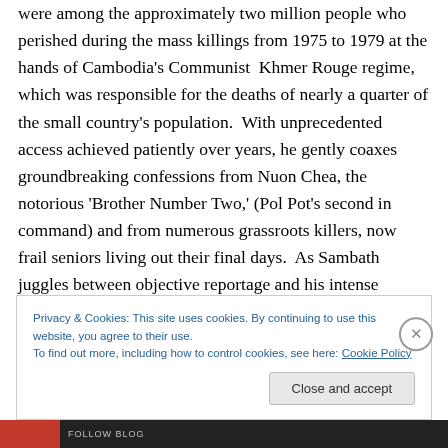were among the approximately two million people who perished during the mass killings from 1975 to 1979 at the hands of Cambodia's Communist Khmer Rouge regime, which was responsible for the deaths of nearly a quarter of the small country's population. With unprecedented access achieved patiently over years, he gently coaxes groundbreaking confessions from Nuon Chea, the notorious 'Brother Number Two,' (Pol Pot's second in command) and from numerous grassroots killers, now frail seniors living out their final days. As Sambath juggles between objective reportage and his intense personal
Privacy & Cookies: This site uses cookies. By continuing to use this website, you agree to their use.
To find out more, including how to control cookies, see here: Cookie Policy